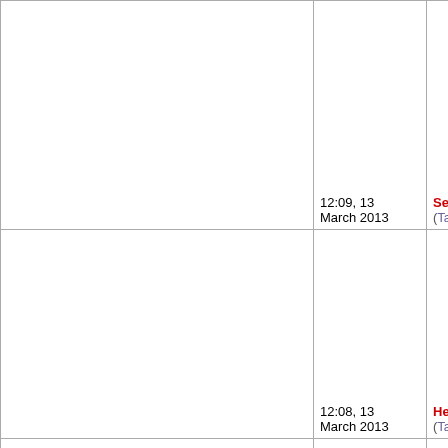| (content) | Date | User |
| --- | --- | --- |
|  | 12:09, 13 March 2013 | SewardFrakes188 (Talk | contribs) |
|  | 12:08, 13 March 2013 | HeinsMccleary34 (Talk | contribs) |
|  | 12:07, 13 March 2013 | HenbeddestrDurh (Talk | contribs) |
|  |  |  |